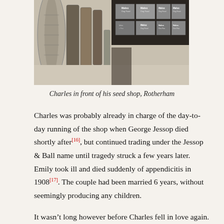[Figure (photo): Black and white photograph of Charles standing in front of his seed shop in Rotherham. Shelves of Melox Dog Food tins visible, along with rolls of wire mesh fencing.]
Charles in front of his seed shop, Rotherham
Charles was probably already in charge of the day-to-day running of the shop when George Jessop died shortly after[16], but continued trading under the Jessop & Ball name until tragedy struck a few years later. Emily took ill and died suddenly of appendicitis in 1908[17]. The couple had been married 6 years, without seemingly producing any children.
It wasn't long however before Charles fell in love again. Clara Mattock, a dressmaker from Lincolnshire, came to Sheffield and she to visit her brother. Charles also came to